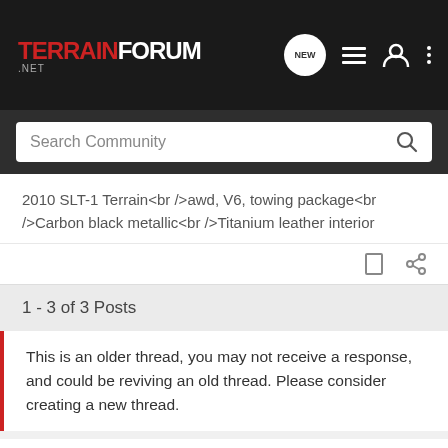TERRAIN FORUM .NET — navigation header with search bar
2010 SLT-1 Terrain<br />awd, V6, towing package<br />Carbon black metallic<br />Titanium leather interior
1 - 3 of 3 Posts
This is an older thread, you may not receive a response, and could be reviving an old thread. Please consider creating a new thread.
Join the discussion
Continue with Facebook